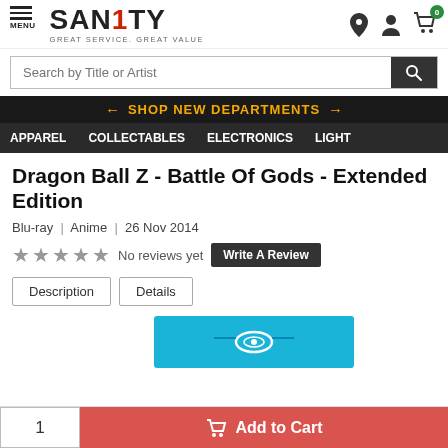SANITY - GREAT SERVICE. GREAT VALUE
Search by Title or Artist
SHOP NEW DEPARTMENTS
APPAREL  COLLECTABLES  ELECTRONICS  LIGHT
Dragon Ball Z - Battle Of Gods - Extended Edition
Blu-ray  |  Anime  |  26 Nov 2014
No reviews yet  Write A Review
Description  Details
[Figure (other): Blu-ray disc logo banner in cyan/blue]
1  Add to Cart